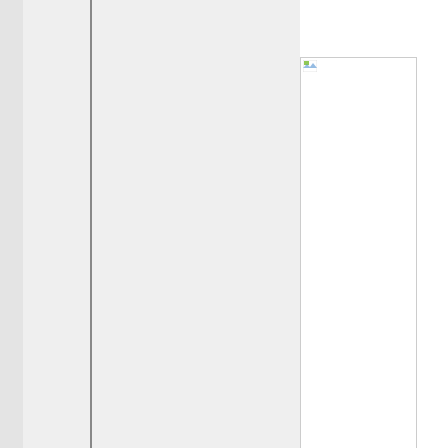[Figure (screenshot): Left sidebar with gray columns and vertical dividers, typical web page sidebar layout]
[Figure (photo): Advertisement image placeholder with broken image icon in upper-left corner, bordered box]
Learn
Featured Video
NEW You Tube Restricted In Japa...
NEW Scientist Leuren Moret - Jap... warfare
Steps to Getting the U.S. Fiscal Hou...
Stunning New Footage Of Incoming...
Stunning Video Of Reactor 3 Explos...
Charles Nenner: A "Major War" In S...